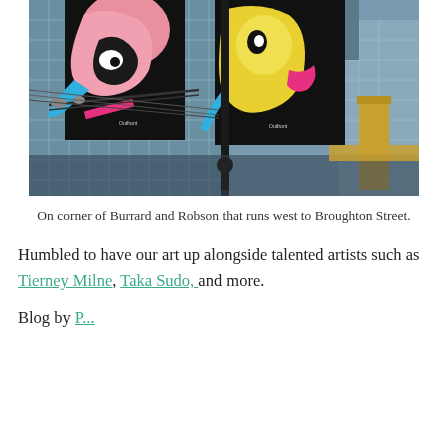[Figure (photo): Photograph of colorful street art banners on a lamppost at the corner of Burrard and Robson Street in Vancouver. Banners show cartoon-style artwork with pink, yellow, blue and black colors. City buildings with glass facades visible in background.]
On corner of Burrard and Robson that runs west to Broughton Street.
Humbled to have our art up alongside talented artists such as Tierney Milne, Taka Sudo, and more.
Blog by...